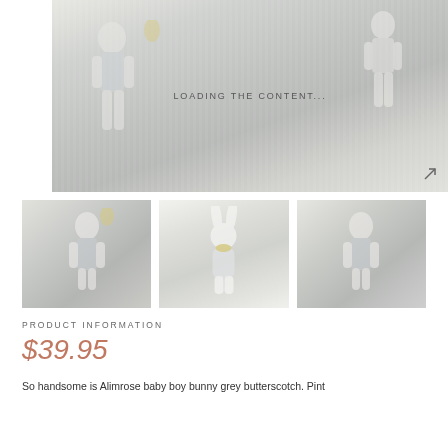[Figure (photo): Main product image showing stuffed bunny/doll toys on white fur background, with 'LOADING THE CONTENT...' overlay text]
[Figure (photo): Thumbnail 1: close-up of bunny doll on fur]
[Figure (photo): Thumbnail 2: white bunny doll standing alone]
[Figure (photo): Thumbnail 3: bunny doll on fur, right angle]
PRODUCT INFORMATION
$39.95
So handsome is Alimrose baby boy bunny grey butterscotch. Pint